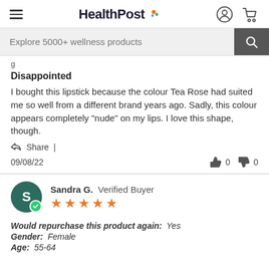HealthPost — Explore 5000+ wellness products
g
Disappointed
I bought this lipstick because the colour Tea Rose had suited me so well from a different brand years ago. Sadly, this colour appears completely "nude" on my lips. I love this shape, though.
Share |
09/08/22  👍 0  👎 0
Sandra G.  Verified Buyer
★★★★★
Would repurchase this product again: Yes
Gender: Female
Age: 55-64